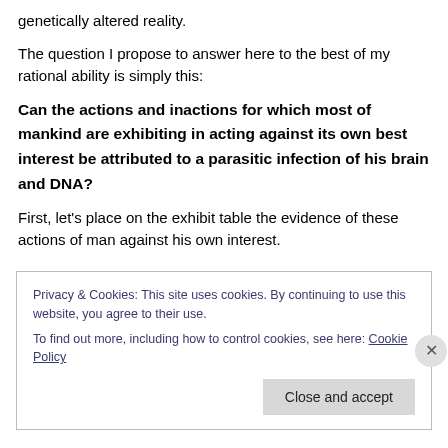genetically altered reality.
The question I propose to answer here to the best of my rational ability is simply this:
Can the actions and inactions for which most of mankind are exhibiting in acting against its own best interest be attributed to a parasitic infection of his brain and DNA?
First, let's place on the exhibit table the evidence of these actions of man against his own interest.
Privacy & Cookies: This site uses cookies. By continuing to use this website, you agree to their use.
To find out more, including how to control cookies, see here: Cookie Policy